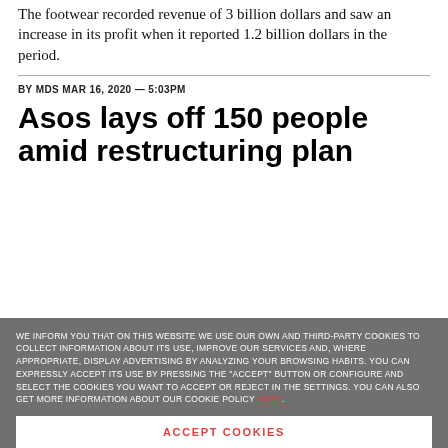The footwear recorded revenue of 3 billion dollars and saw an increase in its profit when it reported 1.2 billion dollars in the period.
BY MDS MAR 16, 2020 — 5:03PM
Asos lays off 150 people amid restructuring plan
WE INFORM YOU THAT ON THIS WEBSITE WE USE OUR OWN AND THIRD-PARTY COOKIES TO COLLECT INFORMATION ABOUT ITS USE, IMPROVE OUR SERVICES AND, WHERE APPROPRIATE, DISPLAY ADVERTISING BY ANALYZING YOUR BROWSING HABITS. YOU CAN EXPRESSLY ACCEPT ITS USE BY PRESSING THE "ACCEPT" BUTTON OR CONFIGURE AND SELECT THE COOKIES YOU WANT TO ACCEPT OR REJECT IN THE SETTINGS. YOU CAN ALSO GET MORE INFORMATION ABOUT OUR COOKIE POLICY HERE.
ACCEPT COOKIES